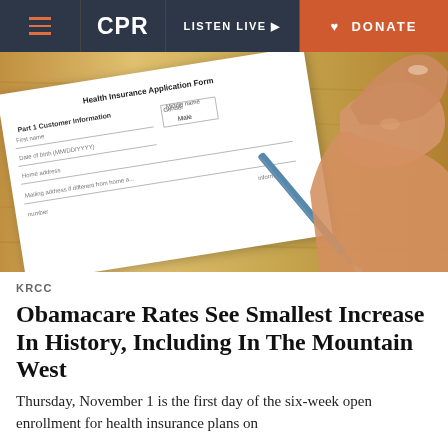CPR | LISTEN LIVE | DONATE
[Figure (photo): A hand holding a pen, writing on a Health Insurance Application Form placed on a wooden table. The form shows fields including Part 1 Customer Information, First name, Middle name, Date of birth (MM/DD/YYYY), Gender (Male), Home address, Mailing address if different from home address.]
KRCC
Obamacare Rates See Smallest Increase In History, Including In The Mountain West
Thursday, November 1 is the first day of the six-week open enrollment for health insurance plans on